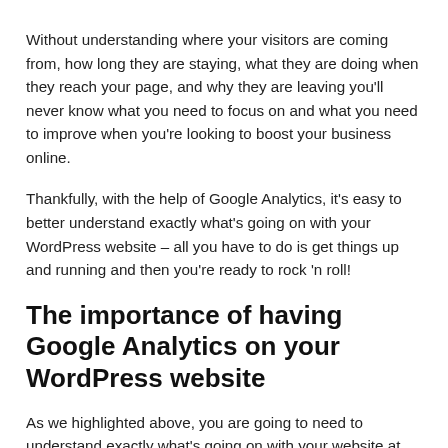Without understanding where your visitors are coming from, how long they are staying, what they are doing when they reach your page, and why they are leaving you'll never know what you need to focus on and what you need to improve when you're looking to boost your business online.
Thankfully, with the help of Google Analytics, it's easy to better understand exactly what's going on with your WordPress website – all you have to do is get things up and running and then you're ready to rock 'n roll!
The importance of having Google Analytics on your WordPress website
As we highlighted above, you are going to need to understand exactly what's going on with your website at any one particular